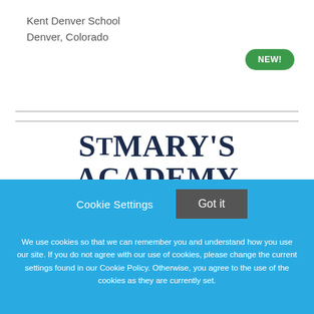Kent Denver School
Denver, Colorado
[Figure (logo): Green rounded badge with text NEW!]
[Figure (logo): St. Mary's Academy logo text in dark navy serif font]
Cookie Settings   Got it
We use cookies so that we can remember you and understand how you use our site. If you do not agree with our use of cookies, please change the current settings found in our Cookie Policy. Otherwise, you agree to the use of the cookies as they are currently set.